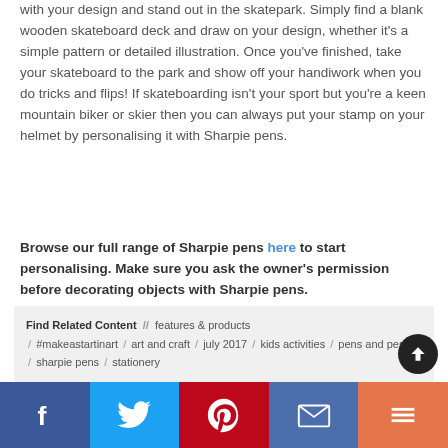with your design and stand out in the skatepark. Simply find a blank wooden skateboard deck and draw on your design, whether it's a simple pattern or detailed illustration. Once you've finished, take your skateboard to the park and show off your handiwork when you do tricks and flips! If skateboarding isn't your sport but you're a keen mountain biker or skier then you can always put your stamp on your helmet by personalising it with Sharpie pens.
Browse our full range of Sharpie pens here to start personalising. Make sure you ask the owner's permission before decorating objects with Sharpie pens.
Find Related Content // features & products / #makeastartinart / art and craft / july 2017 / kids activities / pens and pencils / sharpie pens / stationery